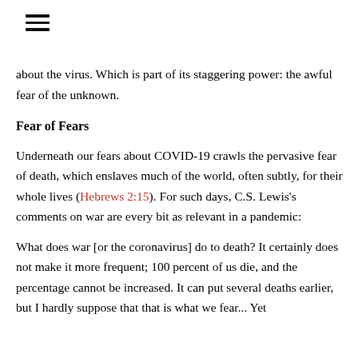[Figure (other): Hamburger menu icon with three horizontal lines]
about the virus. Which is part of its staggering power: the awful fear of the unknown.
Fear of Fears
Underneath our fears about COVID-19 crawls the pervasive fear of death, which enslaves much of the world, often subtly, for their whole lives (Hebrews 2:15). For such days, C.S. Lewis's comments on war are every bit as relevant in a pandemic:
What does war [or the coronavirus] do to death? It certainly does not make it more frequent; 100 percent of us die, and the percentage cannot be increased. It can put several deaths earlier, but I hardly suppose that that is what we fear... Yet